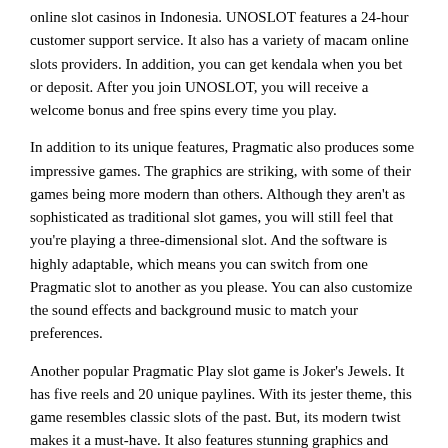online slot casinos in Indonesia. UNOSLOT features a 24-hour customer support service. It also has a variety of macam online slots providers. In addition, you can get kendala when you bet or deposit. After you join UNOSLOT, you will receive a welcome bonus and free spins every time you play.
In addition to its unique features, Pragmatic also produces some impressive games. The graphics are striking, with some of their games being more modern than others. Although they aren't as sophisticated as traditional slot games, you will still feel that you're playing a three-dimensional slot. And the software is highly adaptable, which means you can switch from one Pragmatic slot to another as you please. You can also customize the sound effects and background music to match your preferences.
Another popular Pragmatic Play slot game is Joker's Jewels. It has five reels and 20 unique paylines. With its jester theme, this game resembles classic slots of the past. But, its modern twist makes it a must-have. It also features stunning graphics and smooth animations. Another notable feature of Joker's Jewels is its liberal betting limits. You can place up to ten coins per payline, and each coin is worth between 0.01 and 0.50 credits.